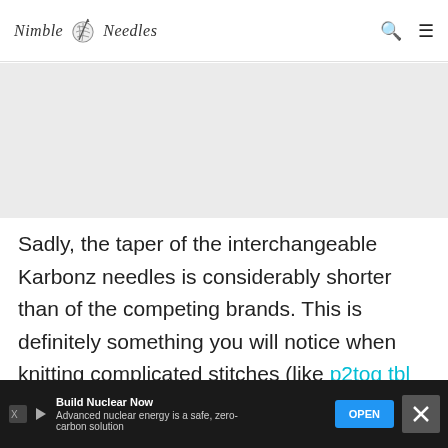Nimble Needles
[Figure (photo): Gray placeholder image area for a photo related to Karbonz interchangeable knitting needles]
Sadly, the taper of the interchangeable Karbonz needles is considerably shorter than of the competing brands. This is definitely something you will notice when knitting complicated stitches (like p2tog tbl or a double decrease). It's nothing that ever...
[Figure (other): Advertisement banner: Build Nuclear Now — Advanced nuclear energy is a safe, zero-carbon solution. OPEN button.]